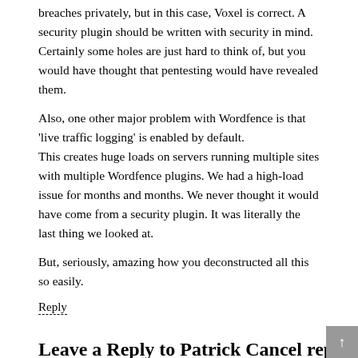breaches privately, but in this case, Voxel is correct. A security plugin should be written with security in mind. Certainly some holes are just hard to think of, but you would have thought that pentesting would have revealed them.
Also, one other major problem with Wordfence is that 'live traffic logging' is enabled by default.
This creates huge loads on servers running multiple sites with multiple Wordfence plugins. We had a high-load issue for months and months. We never thought it would have come from a security plugin. It was literally the last thing we looked at.
But, seriously, amazing how you deconstructed all this so easily.
Reply
Leave a Reply to Patrick Cancel reply
Enter your comment here...